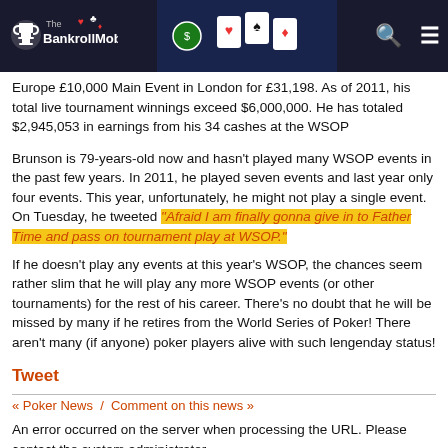The BankrollMob
Europe £10,000 Main Event in London for £31,198. As of 2011, his total live tournament winnings exceed $6,000,000. He has totaled $2,945,053 in earnings from his 34 cashes at the WSOP
Brunson is 79-years-old now and hasn't played many WSOP events in the past few years. In 2011, he played seven events and last year only four events. This year, unfortunately, he might not play a single event. On Tuesday, he tweeted "Afraid I am finally gonna give in to Father Time and pass on tournament play at WSOP."
If he doesn't play any events at this year's WSOP, the chances seem rather slim that he will play any more WSOP events (or other tournaments) for the rest of his career. There's no doubt that he will be missed by many if he retires from the World Series of Poker! There aren't many (if anyone) poker players alive with such lengenday status!
Tweet
« Poker News  /  Comment on this news »
An error occurred on the server when processing the URL. Please contact the system administrator.
If you are the system administrator please click here to find out more